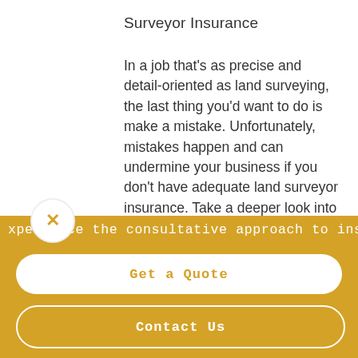Surveyor Insurance
In a job that’s as precise and detail-oriented as land surveying, the last thing you’d want to do is make a mistake. Unfortunately, mistakes happen and can undermine your business if you don’t have adequate land surveyor insurance. Take a deeper look into the risks you face in your industry and what you can do to safeguard the future
xperience the consultative approach to insuran
Get a Quote
Contact Us